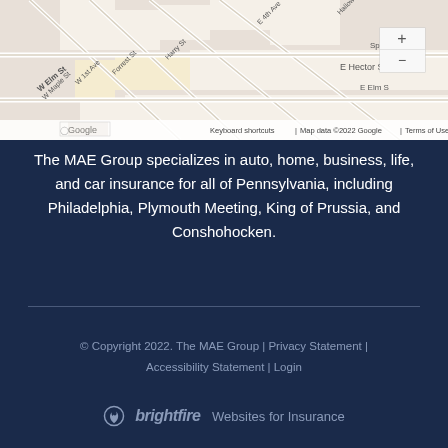[Figure (map): Google Maps street map showing area around Plymouth Meeting/Conshohocken Pennsylvania with streets labeled including W Elm St, E Hector St, Forrest St, Harry St, Maple St, W 1st Ave, E 4th Ave, Spring Mill Ave, Hallowell St, E Elm St. Map includes zoom controls (+/-) and Google branding with 'Keyboard shortcuts | Map data ©2022 Google | Terms of Use']
The MAE Group specializes in auto, home, business, life, and car insurance for all of Pennsylvania, including Philadelphia, Plymouth Meeting, King of Prussia, and Conshohocken.
© Copyright 2022. The MAE Group | Privacy Statement | Accessibility Statement | Login
[Figure (logo): BrightFire logo with flame icon followed by 'brightfire' text in italic, then 'Websites for Insurance' tagline]